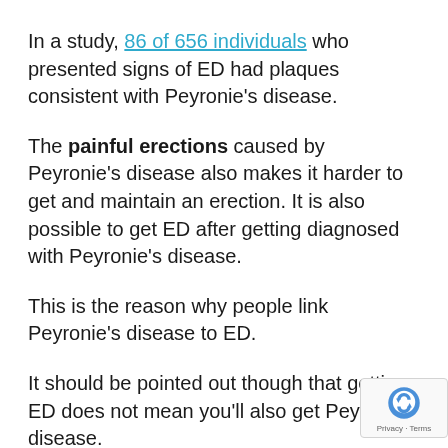In a study, 86 of 656 individuals who presented signs of ED had plaques consistent with Peyronie's disease.
The painful erections caused by Peyronie's disease also makes it harder to get and maintain an erection. It is also possible to get ED after getting diagnosed with Peyronie's disease.
This is the reason why people link Peyronie's disease to ED.
It should be pointed out though that getting ED does not mean you'll also get Peyronie's disease.